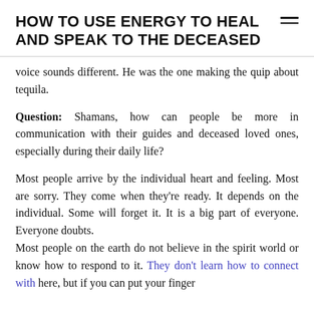HOW TO USE ENERGY TO HEAL AND SPEAK TO THE DECEASED
voice sounds different. He was the one making the quip about tequila.
Question: Shamans, how can people be more in communication with their guides and deceased loved ones, especially during their daily life?
Most people arrive by the individual heart and feeling. Most are sorry. They come when they’re ready. It depends on the individual. Some will forget it. It is a big part of everyone. Everyone doubts.
Most people on the earth do not believe in the spirit world or know how to respond to it. They don’t learn how to connect with here, but if you can put your finger